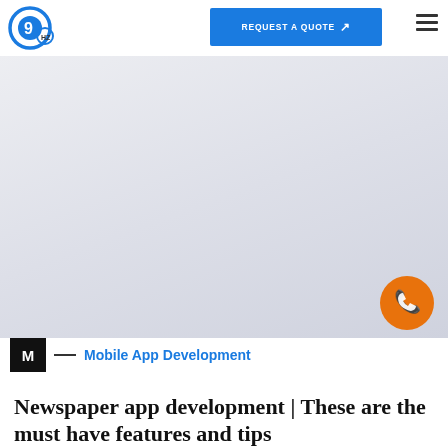[Figure (logo): 9hz logo — blue circle with '9' and 'HZ' text]
[Figure (screenshot): Navigation header with REQUEST A QUOTE button and hamburger menu]
[Figure (photo): Large hero/banner image area (appears light gray/blank in screenshot)]
[Figure (illustration): Orange circular phone/call FAB button in lower right]
M — Mobile App Development
Newspaper app development | These are the must have features and tips